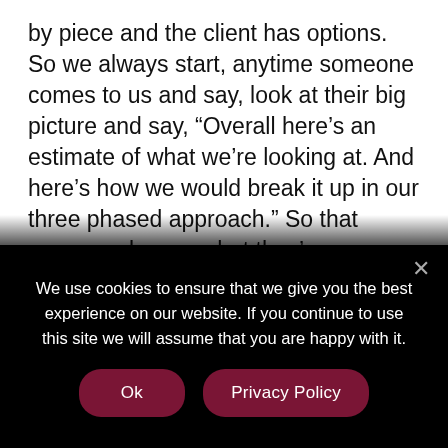by piece and the client has options. So we always start, anytime someone comes to us and say, look at their big picture and say, “Overall here’s an estimate of what we’re looking at. And here’s how we would break it up in our three phased approach.” So that someone knows what they’re more or less getting into before deciding to opt in.
But then when we go through each process go
We use cookies to ensure that we give you the best experience on our website. If you continue to use this site we will assume that you are happy with it.
Ok
Privacy Policy